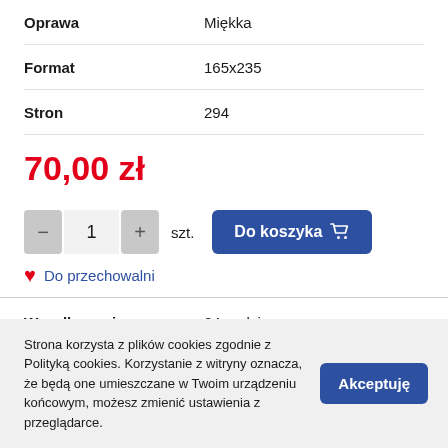| Oprawa | Miękka |
| Format | 165x235 |
| Stron | 294 |
70,00 zł
[Figure (other): Quantity selector with minus and plus buttons showing 1, szt label, and Do koszyka (Add to cart) button with cart icon]
Do przechowalni
| Wysyłka w ciągu | 24 godziny |
Strona korzysta z plików cookies zgodnie z Polityką cookies. Korzystanie z witryny oznacza, że będą one umieszczane w Twoim urządzeniu końcowym, możesz zmienić ustawienia z przeglądarce.